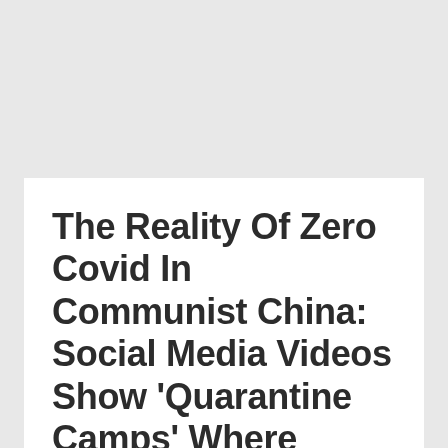The Reality Of Zero Covid In Communist China: Social Media Videos Show 'Quarantine Camps' Where Pregnant Women And Children Are Confined To Tiny...